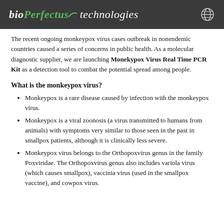bioPerfectus technologies
The recent ongoing monkeypox virus cases outbreak in nonendemic countries caused a series of concerns in public health. As a molecular diagnostic supplier, we are launching Monekypox Virus Real Time PCR Kit as a detection tool to combat the potential spread among people.
What is the monkeypox virus?
Monkeypox is a rare disease caused by infection with the monkeypox virus.
Monkeypox is a viral zoonosis (a virus transmitted to humans from animals) with symptoms very similar to those seen in the past in smallpox patients, although it is clinically less severe.
Monkeypox virus belongs to the Orthopoxvirus genus in the family Poxviridae. The Orthopoxvirus genus also includes variola virus (which causes smallpox), vaccinia virus (used in the smallpox vaccine), and cowpox virus.